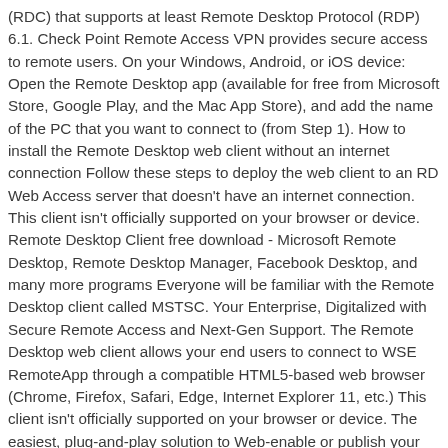(RDC) that supports at least Remote Desktop Protocol (RDP) 6.1. Check Point Remote Access VPN provides secure access to remote users. On your Windows, Android, or iOS device: Open the Remote Desktop app (available for free from Microsoft Store, Google Play, and the Mac App Store), and add the name of the PC that you want to connect to (from Step 1). How to install the Remote Desktop web client without an internet connection Follow these steps to deploy the web client to an RD Web Access server that doesn't have an internet connection. This client isn't officially supported on your browser or device. Remote Desktop Client free download - Microsoft Remote Desktop, Remote Desktop Manager, Facebook Desktop, and many more programs Everyone will be familiar with the Remote Desktop client called MSTSC. Your Enterprise, Digitalized with Secure Remote Access and Next-Gen Support. The Remote Desktop web client allows your end users to connect to WSE RemoteApp through a compatible HTML5-based web browser (Chrome, Firefox, Safari, Edge, Internet Explorer 11, etc.) This client isn't officially supported on your browser or device. The easiest, plug-and-play solution to Web-enable or publish your applications. – The end-user experience of WVD Remote Desktop Client (explained) is better than a Web browser. Scroll down and choose WEB BROWSER (http/https).